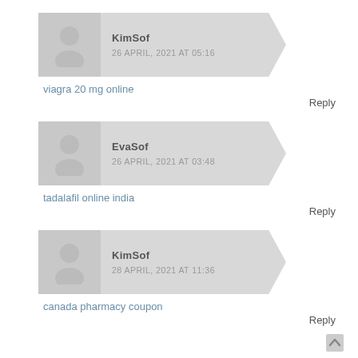KimSof
26 APRIL, 2021 AT 05:16
viagra 20 mg online
Reply
EvaSof
26 APRIL, 2021 AT 03:48
tadalafil online india
Reply
KimSof
28 APRIL, 2021 AT 11:36
canada pharmacy coupon
Reply